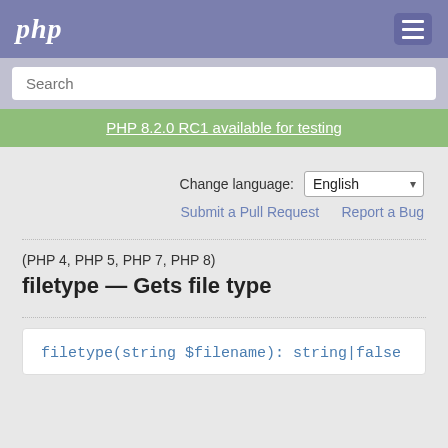php
Search
PHP 8.2.0 RC1 available for testing
Change language: English
Submit a Pull Request   Report a Bug
(PHP 4, PHP 5, PHP 7, PHP 8)
filetype — Gets file type
filetype(string $filename): string|false